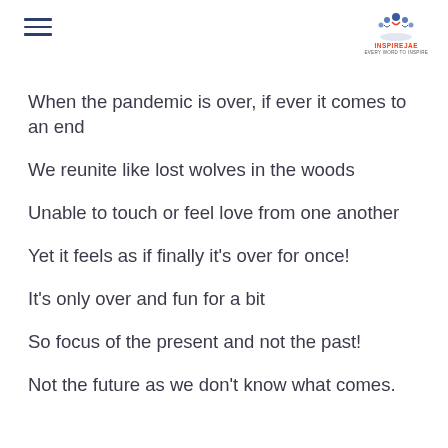≡ [hamburger menu] | InspireJae logo
When the pandemic is over, if ever it comes to an end
We reunite like lost wolves in the woods
Unable to touch or feel love from one another
Yet it feels as if finally it's over for once!
It's only over and fun for a bit
So focus of the present and not the past!
Not the future as we don't know what comes.